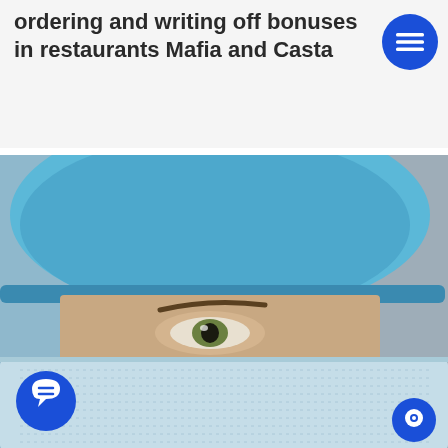ordering and writing off bonuses in restaurants Mafia and Casta
[Figure (photo): Close-up of a person wearing a blue surgical/medical hair net cap and a light blue surgical face mask, with one eye visible. The background is plain grey. Two circular blue UI buttons overlay the image: a chat/comment bubble button at bottom-left and a small chat button at bottom-right.]